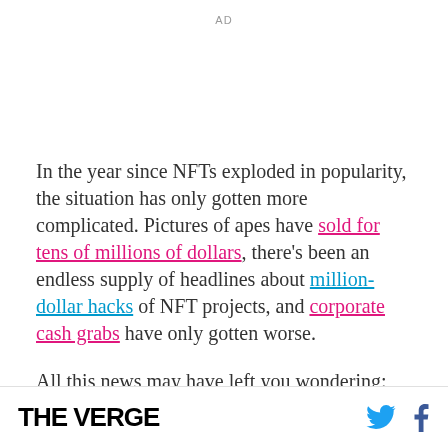AD
In the year since NFTs exploded in popularity, the situation has only gotten more complicated. Pictures of apes have sold for tens of millions of dollars, there's been an endless supply of headlines about million-dollar hacks of NFT projects, and corporate cash grabs have only gotten worse.
All this news may have left you wondering: what is an NFT, anyway?
THE VERGE